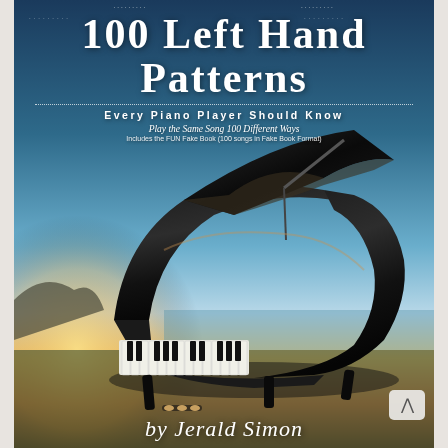100 Left Hand Patterns
EVERY PIANO PLAYER SHOULD KNOW
Play the Same Song 100 Different Ways
Includes the FUN Fake Book (100 songs in Fake Book Format)
[Figure (photo): Grand piano photograph on a scenic background with sky, horizon, and warm sunset light, viewed from front-left angle showing keyboard and open lid]
by Jerald Simon